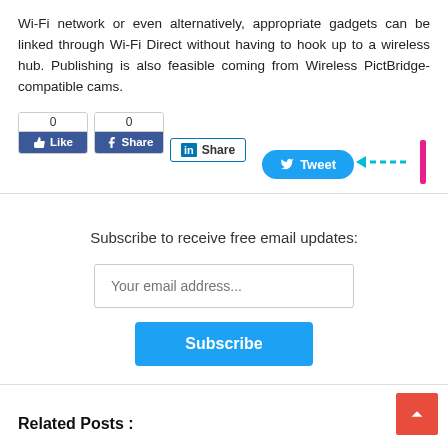Wi-Fi network or even alternatively, appropriate gadgets can be linked through Wi-Fi Direct without having to hook up to a wireless hub. Publishing is also feasible coming from Wireless PictBridge-compatible cams.
[Figure (screenshot): Social sharing buttons row: Facebook Like (0), Facebook Share (0), LinkedIn Share, Twitter Tweet, and a cyan arrow pointing left with pink annotation mark]
Subscribe to receive free email updates:
[Figure (screenshot): Email subscription input field with placeholder 'Your email address...' and a blue Subscribe button below]
Related Posts :